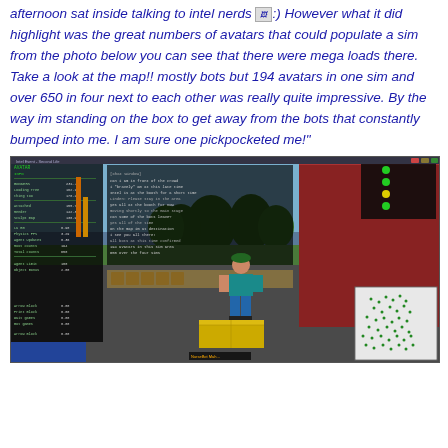afternoon sat inside talking to intel nerds :) However what it did highlight was the great numbers of avatars that could populate a sim from the photo below you can see that there were mega loads there. Take a look at the map!! mostly bots but 194 avatars in one sim and over 650 in four next to each other was really quite impressive. By the way im standing on the box to get away from the bots that constantly bumped into me. I am sure one pickpocketed me!"
[Figure (screenshot): Screenshot of a virtual world (Second Life) showing an avatar standing on a box, with chat panels, a minimap showing green dots (avatars/bots), a red building on the right, and a sky/trees background.]